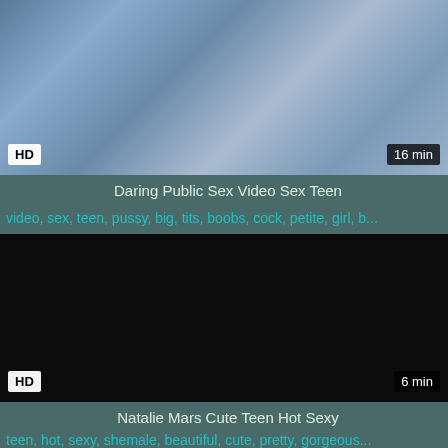[Figure (screenshot): Video thumbnail showing people outdoors with HD badge and 16 min duration]
Daring Public Sex Video Sex Teen
video, sex, teen, pussy, big, tits, boobs, cock, petite, girl, b...
[Figure (screenshot): Dark/black video thumbnail with HD badge and 6 min duration]
Natalie Mars Cute Teen Hot Sexy
teen, hot, sexy, shemale, beautiful, cute, pretty, gorgeous...